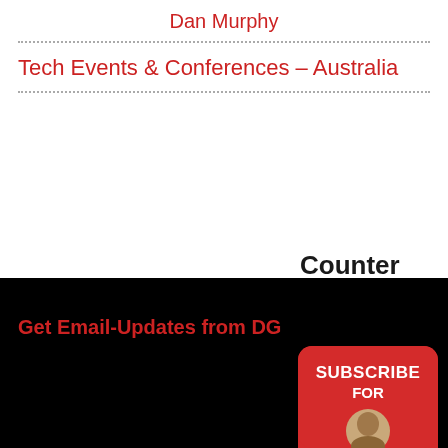Dan Murphy
Tech Events & Conferences – Australia
Counter
422,817
Get Email-Updates from DG